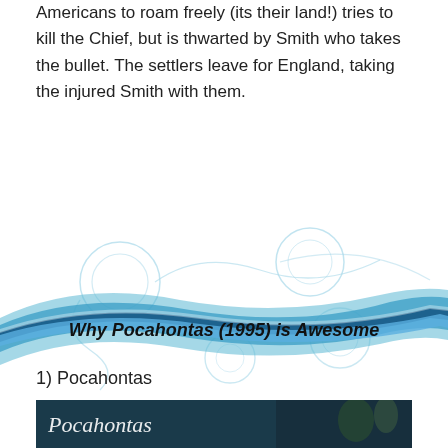Americans to roam freely (its their land!) tries to kill the Chief, but is thwarted by Smith who takes the bullet. The settlers leave for England, taking the injured Smith with them.
[Figure (illustration): Decorative blue swirling wave and circular scroll design on white background]
Why Pocahontas (1995) is Awesome
1) Pocahontas
[Figure (photo): Movie still or poster image with 'Pocahontas' script text and illustrated figures against a dark blue background with foliage]